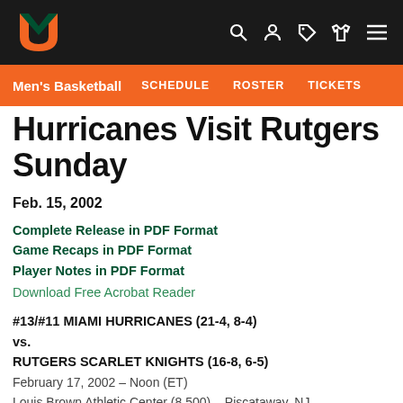University of Miami Athletics navigation bar with logo
Men's Basketball   SCHEDULE   ROSTER   TICKETS
Hurricanes Visit Rutgers Sunday
Feb. 15, 2002
Complete Release in PDF Format
Game Recaps in PDF Format
Player Notes in PDF Format
Download Free Acrobat Reader
#13/#11 MIAMI HURRICANES (21-4, 8-4) vs. RUTGERS SCARLET KNIGHTS (16-8, 6-5)
February 17, 2002 – Noon (ET)
Louis Brown Athletic Center (8,500) – Piscataway, NJ